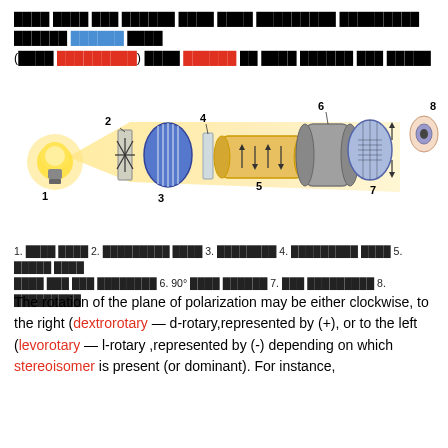Hindi text describing polarization concept with colored terms
[Figure (illustration): Diagram of a polarimeter showing components: 1. light source (bulb), 2. unpolarized light, 3. polarizer, 4. glass plate, 5. sample tube with arrows, 6. scale, 7. analyzer disk, 8. observer eye. Numbered labels 1-8 pointing to each component along a light beam path.]
1. [hindi] 2. [hindi] 3. [hindi] 4. [hindi] 5. [hindi] [hindi] 6. 90° [hindi] 7. [hindi] 8. [hindi]
The rotation of the plane of polarization may be either clockwise, to the right (dextrorotary — d-rotary,represented by (+), or to the left (levorotary — l-rotary ,represented by (-) depending on which stereoisomer is present (or dominant). For instance,